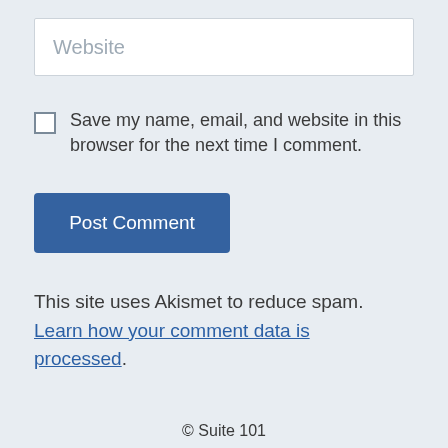Website
Save my name, email, and website in this browser for the next time I comment.
Post Comment
This site uses Akismet to reduce spam. Learn how your comment data is processed.
© Suite 101